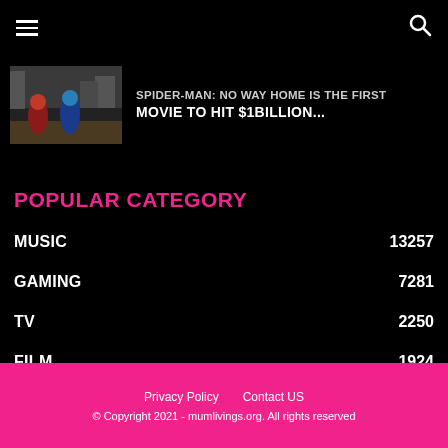Navigation menu and search icon
[Figure (photo): Thumbnail image from Spider-Man: No Way Home movie scene]
SPIDER-MAN: NO WAY HOME IS THE FIRST MOVIE TO HIT $1BILLION...
POPULAR CATEGORY
| Category | Count |
| --- | --- |
| MUSIC | 13257 |
| GAMING | 7281 |
| TV | 2250 |
| FILM | 1924 |
Privacy Policy   Contact US
© Copyright 2021 - mumlivings.org. All rights reserved